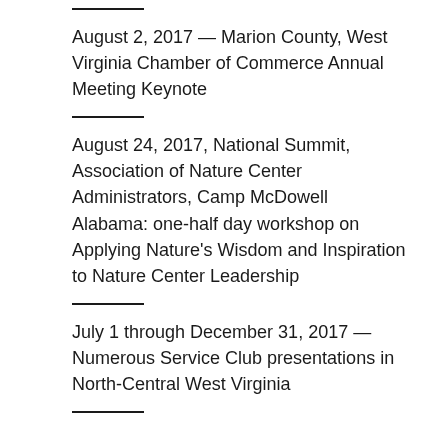August 2, 2017 — Marion County, West Virginia Chamber of Commerce Annual Meeting Keynote
August 24, 2017, National Summit, Association of Nature Center Administrators, Camp McDowell Alabama: one-half day workshop on Applying Nature's Wisdom and Inspiration to Nature Center Leadership
July 1 through December 31, 2017 — Numerous Service Club presentations in North-Central West Virginia